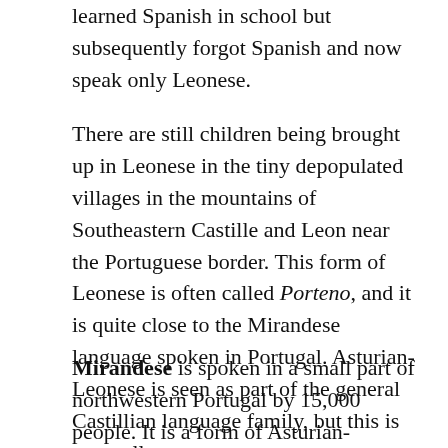learned Spanish in school but subsequently forgot Spanish and now speak only Leonese.
There are still children being brought up in Leonese in the tiny depopulated villages in the mountains of Southeastern Castille and Leon near the Portuguese border. This form of Leonese is often called Porteno, and it is quite close to the Mirandese language spoken in Portugal. Asturian-Leonese is seen as part of the general Castillian language family, but this is not really true.
Mirandese is spoken in a small part of northwestern Portugal by 15,000 people. It is a form of Asturian-Leonese that came under heavy Portuguese influence and became a